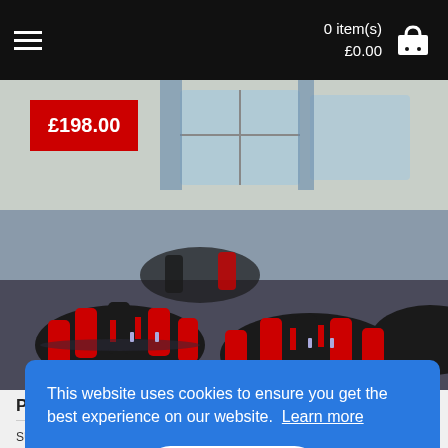0 item(s) £0.00
[Figure (photo): Banquet hall with round tables covered in black tablecloths, red chair covers, and red napkins, with large windows in background. Price badge showing £198.00 overlaid on top-left.]
PLATINUM HOSPITALITY
SU... in... En... bu... co... 01... subject to a postal fee.
This website uses cookies to ensure you get the best experience on our website. Learn more
Got it!